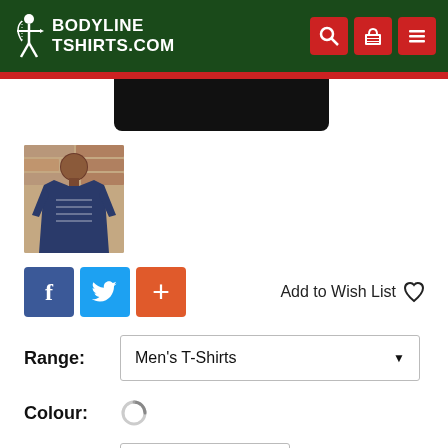[Figure (logo): Bodyline TShirts.com logo with white archer figure on dark green background]
Bodyline TShirts.com
[Figure (photo): Partial view of a black t-shirt product photo, cropped at top]
[Figure (photo): Thumbnail of a man wearing a navy blue t-shirt with text, standing in front of a brick wall]
Add to Wish List
Range: Men's T-Shirts
Colour:
Select size...